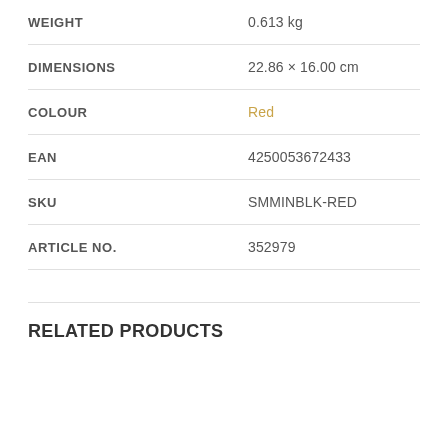| Attribute | Value |
| --- | --- |
| WEIGHT | 0.613 kg |
| DIMENSIONS | 22.86 × 16.00 cm |
| COLOUR | Red |
| EAN | 4250053672433 |
| SKU | SMMINBLK-RED |
| ARTICLE NO. | 352979 |
RELATED PRODUCTS